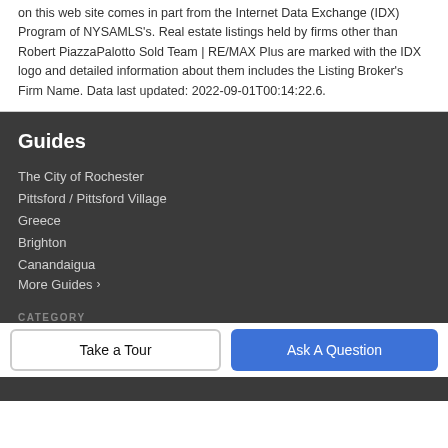on this web site comes in part from the Internet Data Exchange (IDX) Program of NYSAMLS's. Real estate listings held by firms other than Robert PiazzaPalotto Sold Team | RE/MAX Plus are marked with the IDX logo and detailed information about them includes the Listing Broker's Firm Name. Data last updated: 2022-09-01T00:14:22.6.
Guides
The City of Rochester
Pittsford / Pittsford Village
Greece
Brighton
Canandaigua
More Guides >
CATEGORY
Take a Tour
Ask A Question